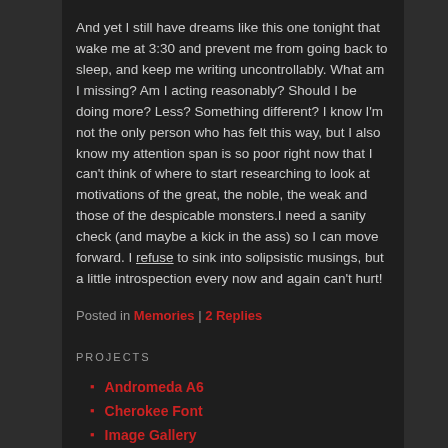And yet I still have dreams like this one tonight that wake me at 3:30 and prevent me from going back to sleep, and keep me writing uncontrollably. What am I missing? Am I acting reasonably? Should I be doing more? Less? Something different? I know I'm not the only person who has felt this way, but I also know my attention span is so poor right now that I can't think of where to start researching to look at motivations of the great, the noble, the weak and those of the despicable monsters.I need a sanity check (and maybe a kick in the ass) so I can move forward. I refuse to sink into solipsistic musings, but a little introspection every now and again can't hurt!
Posted in Memories | 2 Replies
PROJECTS
Andromeda A6
Cherokee Font
Image Gallery
ircd mod archive